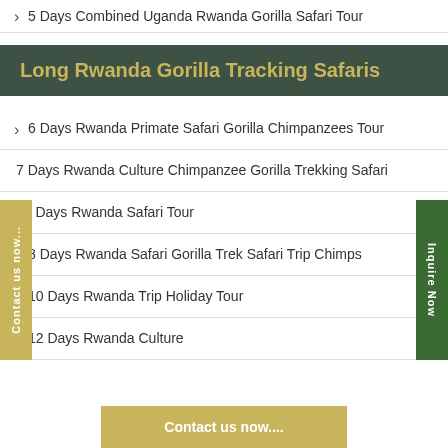5 Days Combined Uganda Rwanda Gorilla Safari Tour
Long Rwanda Gorilla Tracking Safaris
6 Days Rwanda Primate Safari Gorilla Chimpanzees Tour
7 Days Rwanda Culture Chimpanzee Gorilla Trekking Safari
10 Days Rwanda Safari Tour
8 Days Rwanda Safari Gorilla Trek Safari Trip Chimps
10 Days Rwanda Trip Holiday Tour
12 Days Rwanda Culture